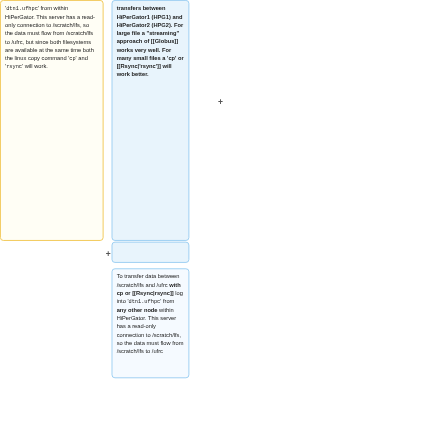'<code>dtn1.ufhpc</code>' from within HiPerGator. This server has a read-only connection to /scratch/lfs, so the data must flow from /scratch/lfs to /ufrc, but since both filesystems are available at the same time both the linux copy command '<code>cp</code>' and '<code>rsync</code>' will work.
transfers between HiPerGator1 (HPG1) and HiPerGator2 (HPG2). For large file a "streaming" approach of [[Globus]] works very well. For many small files a 'cp' or [[Rsync|'rsync']] will work better.
To transfer data between /scratch/lfs and /ufrc with cp or [[Rsync|rsync]] log into '<code>dtn1.ufhpc</code>' from any other node within HiPerGator. This server has a read-only connection to /scratch/lfs, so the data must flow from /scratch/lfs to /ufrc